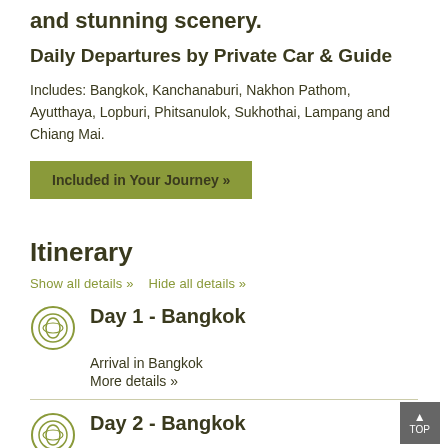and stunning scenery.
Daily Departures by Private Car & Guide
Includes: Bangkok, Kanchanaburi, Nakhon Pathom, Ayutthaya, Lopburi, Phitsanulok, Sukhothai, Lampang and Chiang Mai.
Included in Your Journey »
Itinerary
Show all details »   Hide all details »
Day 1 - Bangkok
Arrival in Bangkok
More details »
Day 2 - Bangkok
Explore Bangkok (b)